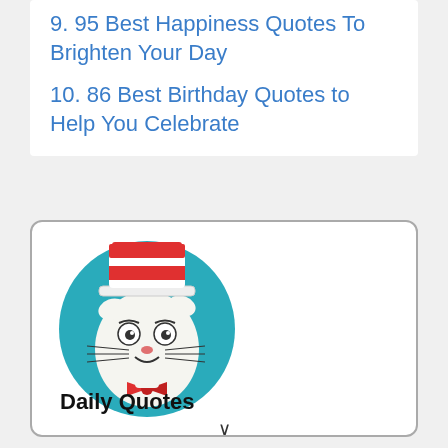9. 95 Best Happiness Quotes To Brighten Your Day
10. 86 Best Birthday Quotes to Help You Celebrate
[Figure (illustration): Cat in the Hat character illustration: a cartoon cat wearing a red and white striped tall hat and red bow tie, on a teal circular background]
Daily Quotes